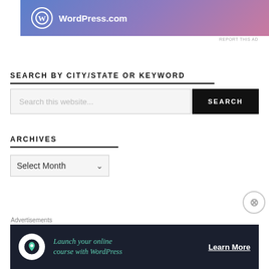[Figure (screenshot): WordPress.com advertisement banner with gradient background (blue to pink) showing WordPress logo and text 'WordPress.com']
REPORT THIS AD
SEARCH BY CITY/STATE OR KEYWORD
Search this website...
SEARCH
ARCHIVES
Select Month
Advertisements
[Figure (screenshot): Advertisement banner for WordPress: 'Launch your online course with WordPress' with Learn More CTA on dark navy background]